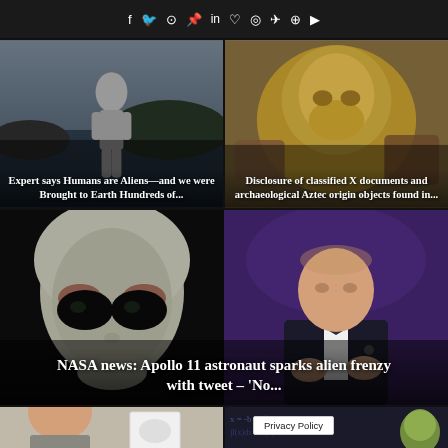f  y  ⊙  p  in  ♡  ◉  ✈  ⊕  ▶
[Figure (photo): Black and white photo of a bald humanoid figure standing in water with rocky landscape]
Expert says Humans are Aliens—and we were Brought to Earth Hundreds of...
[Figure (photo): Gold colored alien skull artifact held by hands]
Disclosure of classified X documents and archaeological Aztec origin objects found in...
[Figure (photo): Close-up of a gray alien face with large dark eyes against black background on left, elderly man in tuxedo gesturing on right]
NASA news: Apollo 11 astronaut sparks alien frenzy with tweet – 'No...
[Figure (photo): Partial view of bald man on left side]
[Figure (screenshot): Privacy Policy popup box over an image with alien figure]
Privacy Policy